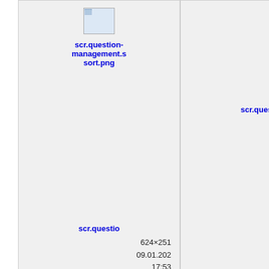[Figure (screenshot): File manager / image browser showing a grid of image file thumbnails with filenames, dimensions, dates, times, and file sizes. Row 1: scr.question-management.s(sort.png) 624x251 09.01.202 17:53 4.7KB; scr.questio(n...) 624x128 09.01.202 20:01 2.3KB; scr.q(uestion-management.use.png) 624x... 09... 7... Row 2: scr.questio(...) 234x157 11.08.201 17:20 3.6KB; scr.questio(...) 620x220 11.08.201 18:58 5KB; scr.q(...) 60... 11... 2...]